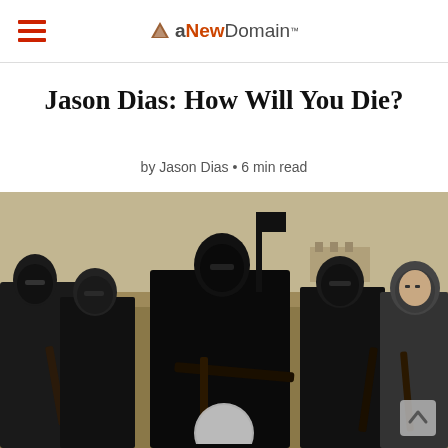aNewDomain
Jason Dias: How Will You Die?
by Jason Dias • 6 min read
[Figure (photo): Group of armed masked fighters dressed in black standing in a desert landscape, holding rifles, with a building visible in the background.]